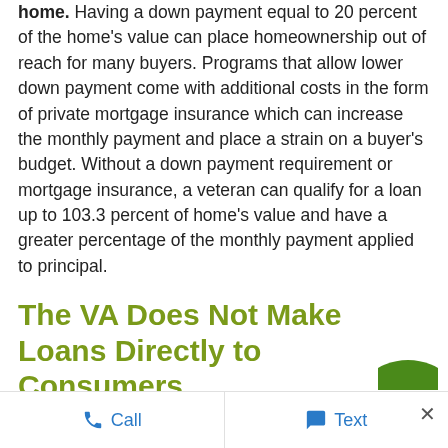home. Having a down payment equal to 20 percent of the home's value can place homeownership out of reach for many buyers. Programs that allow lower down payment come with additional costs in the form of private mortgage insurance which can increase the monthly payment and place a strain on a buyer's budget. Without a down payment requirement or mortgage insurance, a veteran can qualify for a loan up to 103.3 percent of home's value and have a greater percentage of the monthly payment applied to principal.
The VA Does Not Make Loans Directly to Consumers
Call   Text